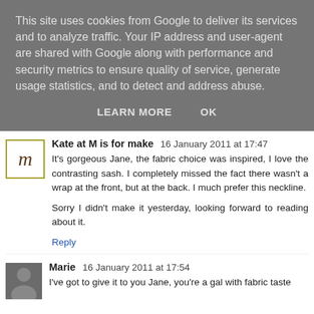This site uses cookies from Google to deliver its services and to analyze traffic. Your IP address and user-agent are shared with Google along with performance and security metrics to ensure quality of service, generate usage statistics, and to detect and address abuse.
LEARN MORE   OK
Kate at M is for make  16 January 2011 at 17:47
It's gorgeous Jane, the fabric choice was inspired, I love the contrasting sash. I completely missed the fact there wasn't a wrap at the front, but at the back. I much prefer this neckline.

Sorry I didn't make it yesterday, looking forward to reading about it.
Reply
Marie  16 January 2011 at 17:54
I've got to give it to you Jane, you're a gal with fabric taste